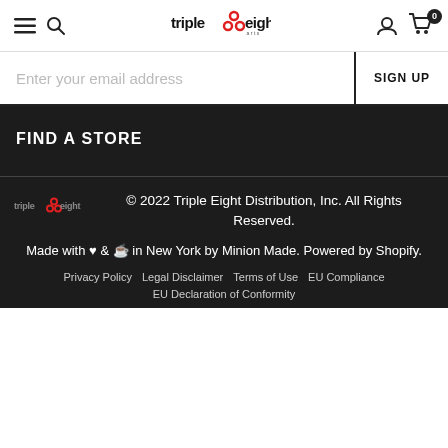Triple Eight navigation header with hamburger menu, search icon, logo, account icon, and cart (0)
Enter your email address
SIGN UP
FIND A STORE
© 2022 Triple Eight Distribution, Inc. All Rights Reserved.
Made with ♥ & ☕ in New York by Minion Made. Powered by Shopify.
Privacy Policy   Legal Disclaimer   Terms of Use   EU Compliance   EU Declaration of Conformity